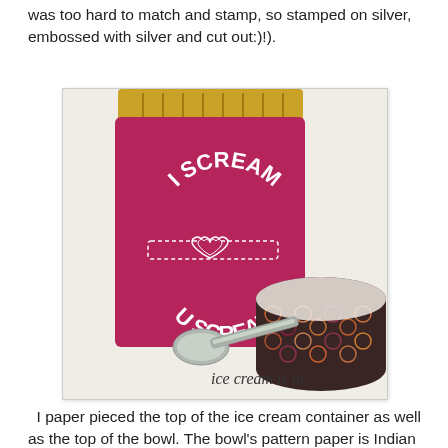was too hard to match and stamp, so stamped on silver, embossed with silver and cut out:)!).
[Figure (photo): A handmade paper craft scene showing an ice cream container in pink/magenta with 'I SCREAM U SCREAM' text and a heart, next to a decorative bowl with Indian Summer pattern paper and a silver spoon. Text 'ice cream is th' visible at bottom right.]
I paper pieced the top of the ice cream container as well as the top of the bowl. The bowl's pattern paper is Indian Summer from Basic Grey.   I was going for a Blue Bell "look" with my ice cream.  For those not familiar...Blue Bell ice